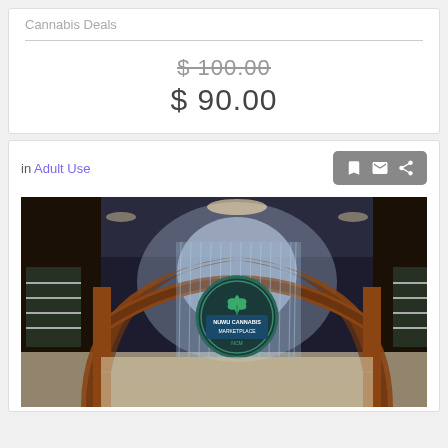Cannabis Deals
$100.00 (strikethrough) $90.00
in Adult Use
[Figure (photo): Interior of NuWu Cannabis Marketplace store showing wooden arch structure, water feature, and the NUWU CANNABIS MARKETPLACE logo sign in the background, with display shelves visible on the sides.]